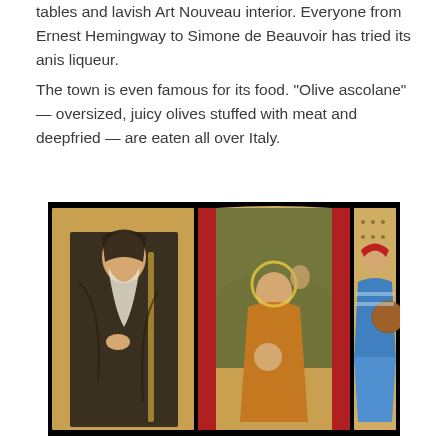tables and lavish Art Nouveau interior. Everyone from Ernest Hemingway to Simone de Beauvoir has tried its anis liqueur.
The town is even famous for its food. "Olive ascolane" — oversized, juicy olives stuffed with meat and deepfried — are eaten all over Italy.
[Figure (photo): A triptych altarpiece painting with a black background showing three panels: left panel features a robed saint with a long beard holding a staff; center panel shows the Madonna and Child with another figure in the background, featuring a golden arched top and red columns; right panel depicts an armored knight or saint figure. The paintings appear to be Renaissance-era Italian religious art on gold-ground panels.]